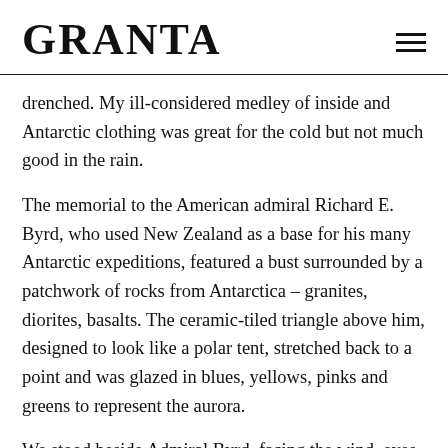GRANTA
drenched. My ill-considered medley of inside and Antarctic clothing was great for the cold but not much good in the rain.
The memorial to the American admiral Richard E. Byrd, who used New Zealand as a base for his many Antarctic expeditions, featured a bust surrounded by a patchwork of rocks from Antarctica – granites, diorites, basalts. The ceramic-tiled triangle above him, designed to look like a polar tent, stretched back to a point and was glazed in blues, yellows, pinks and greens to represent the aurora.
We stood beside Admiral Byrd, facing the wind, eyes squinting against the southerly onslaught. To the east was the flat isthmus between Lyall Bay and Evans Bay, a low-lying